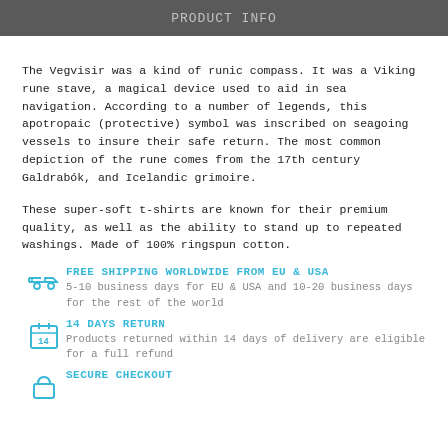PRODUCT INFO
The Vegvisir was a kind of runic compass. It was a Viking rune stave, a magical device used to aid in sea navigation. According to a number of legends, this apotropaic (protective) symbol was inscribed on seagoing vessels to insure their safe return. The most common depiction of the rune comes from the 17th century Galdrabók, and Icelandic grimoire.
These super-soft t-shirts are known for their premium quality, as well as the ability to stand up to repeated washings. Made of 100% ringspun cotton.
FREE SHIPPING WORLDWIDE FROM EU & USA — 5-10 business days for EU & USA and 10-20 business days for the rest of the world
14 DAYS RETURN — Products returned within 14 days of delivery are eligible for a full refund
SECURE CHECKOUT